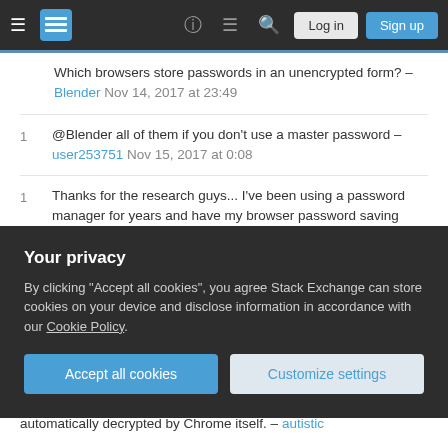Stack Exchange navigation bar with Log in and Sign up buttons
Which browsers store passwords in an unencrypted form? – Blender Nov 14, 2017 at 23:49
1 @Blender all of them if you don't use a master password – user253751 Nov 15, 2017 at 0:08
1 Thanks for the research guys... I've been using a password manager for years and have my browser password saving disabled. I didn't realize they were mostly encrypted now. – JPhi1618 Nov 15, 2017 at 3:52
1 @Bango Contrary, my argument was against the...
Your privacy
By clicking "Accept all cookies", you agree Stack Exchange can store cookies on your device and disclose information in accordance with our Cookie Policy.
Accept all cookies   Customize settings
automatically decrypted by Chrome itself. – autistic